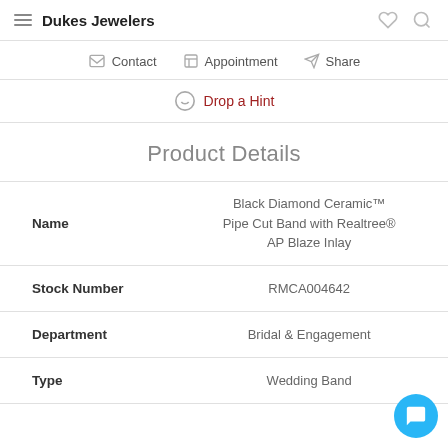Dukes Jewelers
Contact  Appointment  Share
Drop a Hint
Product Details
|  |  |
| --- | --- |
| Name | Black Diamond Ceramic™ Pipe Cut Band with Realtree® AP Blaze Inlay |
| Stock Number | RMCA004642 |
| Department | Bridal & Engagement |
| Type | Wedding Band |